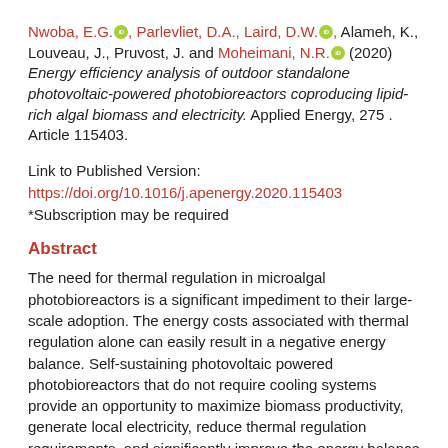Nwoba, E.G., Parlevliet, D.A., Laird, D.W., Alameh, K., Louveau, J., Pruvost, J. and Moheimani, N.R. (2020) Energy efficiency analysis of outdoor standalone photovoltaic-powered photobioreactors coproducing lipid-rich algal biomass and electricity. Applied Energy, 275 . Article 115403.
Link to Published Version:
https://doi.org/10.1016/j.apenergy.2020.115403
*Subscription may be required
Abstract
The need for thermal regulation in microalgal photobioreactors is a significant impediment to their large-scale adoption. The energy costs associated with thermal regulation alone can easily result in a negative energy balance. Self-sustaining photovoltaic powered photobioreactors that do not require cooling systems provide an opportunity to maximize biomass productivity, generate local electricity, reduce thermal regulation requirements, and significantly improve the energy balance of the system. Net energy analysis of a spectrally-selective, insulated-glazed photovoltaic photobioreactor (IGP) with an integrated capability for coproducing lipid-rich microalgae